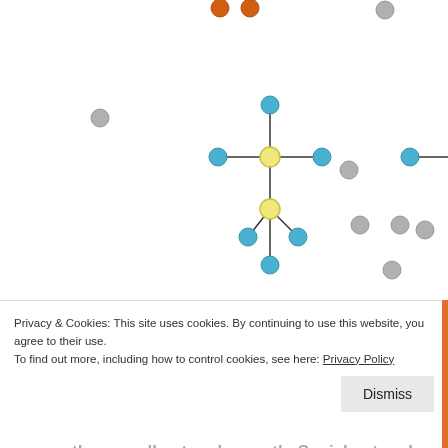[Figure (network-graph): Network diagram showing nodes connected in star-like patterns. Several yellow hub nodes connected to blue nodes. Orange nodes at top center. Gray isolated nodes scattered around. Blue interconnected cluster at top right. Represents a network with a giant component forming.]
Figure 2c: The formerly isolated network becomes part of the giant component.
What are the implications of this? When designing your social network, be aware that most of the network will be outside the giant component. In a
Privacy & Cookies: This site uses cookies. By continuing to use this website, you agree to their use.
To find out more, including how to control cookies, see here: Privacy Policy
the overall network growth. Social networks are